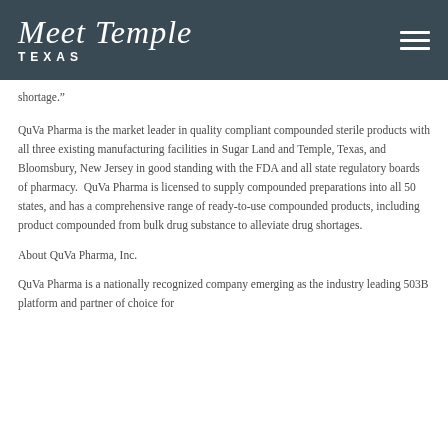Meet Temple TEXAS
shortage.”
QuVa Pharma is the market leader in quality compliant compounded sterile products with all three existing manufacturing facilities in Sugar Land and Temple, Texas, and Bloomsbury, New Jersey in good standing with the FDA and all state regulatory boards of pharmacy.  QuVa Pharma is licensed to supply compounded preparations into all 50 states, and has a comprehensive range of ready-to-use compounded products, including product compounded from bulk drug substance to alleviate drug shortages.
About QuVa Pharma, Inc.
QuVa Pharma is a nationally recognized company emerging as the industry leading 503B platform and partner of choice for